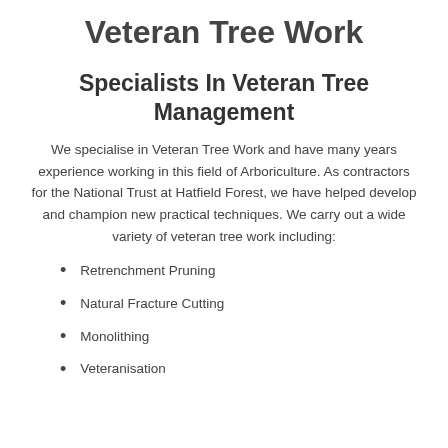Veteran Tree Work
Specialists In Veteran Tree Management
We specialise in Veteran Tree Work and have many years experience working in this field of Arboriculture. As contractors for the National Trust at Hatfield Forest, we have helped develop and champion new practical techniques. We carry out a wide variety of veteran tree work including:
Retrenchment Pruning
Natural Fracture Cutting
Monolithing
Veteranisation